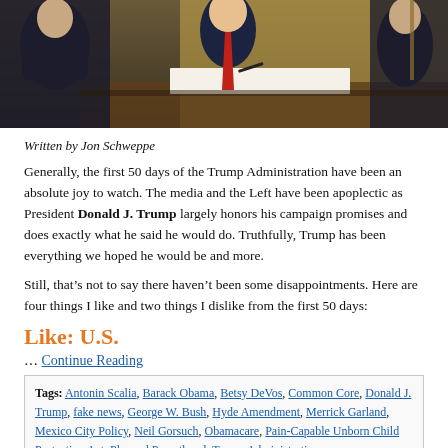[Figure (photo): Photo of President Donald J. Trump signing a document at a desk, flanked by officials in a formal room with golden curtains.]
Written by Jon Schweppe
Generally, the first 50 days of the Trump Administration have been an absolute joy to watch. The media and the Left have been apoplectic as President Donald J. Trump largely honors his campaign promises and does exactly what he said he would do. Truthfully, Trump has been everything we hoped he would be and more.
Still, that’s not to say there haven’t been some disappointments. Here are four things I like and two things I dislike from the first 50 days:
Like: U.S.
… Continue Reading
Tags: Antonin Scalia, Barack Obama, Betsy DeVos, Common Core, Donald J. Trump, fake news, George W. Bush, Hyde Amendment, Merrick Garland, Mexico City Policy, Neil Gorsuch, Obamacare, Pain-Capable Unborn Child Protection Act, Planned Parenthood, Trump Administration
Federal Issues | David E. Smith | March 13, 2017 7:02 AM | Comments Off
“Trump is President. Now What?”